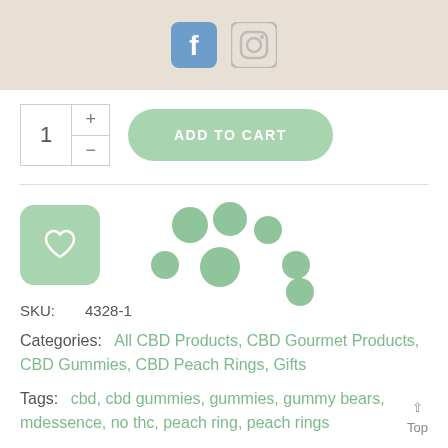Facebook and Instagram social media icons
[Figure (screenshot): Add to Cart UI with quantity selector showing 1 and green ADD TO CART button]
[Figure (illustration): Green heart wishlist button and loading spinner dots overlay]
SKU: 4328-1
Categories: All CBD Products, CBD Gourmet Products, CBD Gummies, CBD Peach Rings, Gifts
Tags: cbd, cbd gummies, gummies, gummy bears, mdessence, no thc, peach ring, peach rings